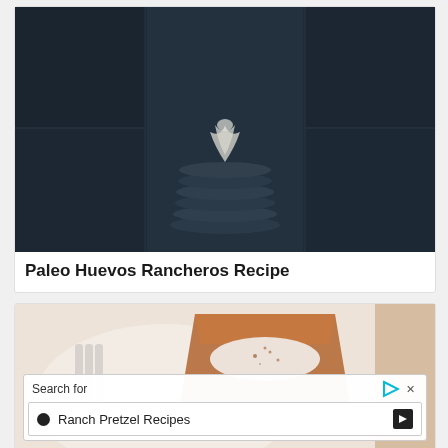[Figure (photo): Dark-toned collage of food photos including a stack of pancakes with whipped cream on top, a bowl, and other food items, used as the card image for Paleo Huevos Rancheros Recipe]
Paleo Huevos Rancheros Recipe
[Figure (photo): Photo of a slice of pie or tart on a white plate with fork, showing a creamy topping with spice, on a beige background; overlaid with an advertisement search box reading 'Search for' with option 'Ranch Pretzel Recipes']